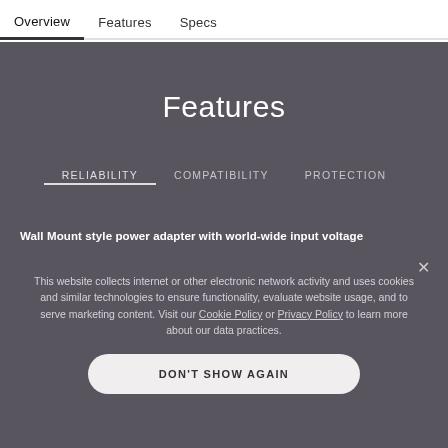Overview   Features   Specs
Features
RELIABILITY   COMPATIBILITY   PROTECTION
Wall Mount style power adapter with world-wide input voltage
This website collects internet or other electronic network activity and uses cookies and similar technologies to ensure functionality, evaluate website usage, and to serve marketing content. Visit our Cookie Policy or Privacy Policy to learn more about our data practices.
DON'T SHOW AGAIN